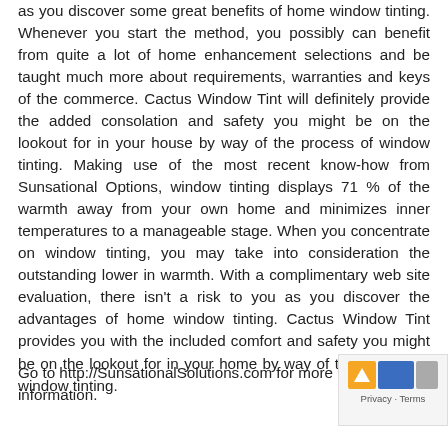as you discover some great benefits of home window tinting. Whenever you start the method, you possibly can benefit from quite a lot of home enhancement selections and be taught much more about requirements, warranties and keys of the commerce. Cactus Window Tint will definitely provide the added consolation and safety you might be on the lookout for in your house by way of the process of window tinting. Making use of the most recent know-how from Sunsational Options, window tinting displays 71 % of the warmth away from your own home and minimizes inner temperatures to a manageable stage. When you concentrate on window tinting, you may take into consideration the outstanding lower in warmth. With a complimentary web site evaluation, there isn't a risk to you as you discover the advantages of home window tinting. Cactus Window Tint provides you with the included comfort and safety you might be on the lookout for in your home by way of the method of window tinting.
Go to http://SunsationalSolutions.com for more information.
[Figure (other): Privacy & Terms badge with colored icons (yellow, blue, gray)]